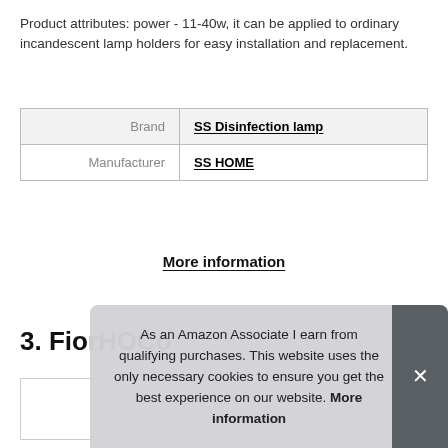Product attributes: power - 11-40w, it can be applied to ordinary incandescent lamp holders for easy installation and replacement.
| Brand | SS Disinfection lamp |
| Manufacturer | SS HOME |
More information
3. FiorHOCo
As an Amazon Associate I earn from qualifying purchases. This website uses the only necessary cookies to ensure you get the best experience on our website. More information